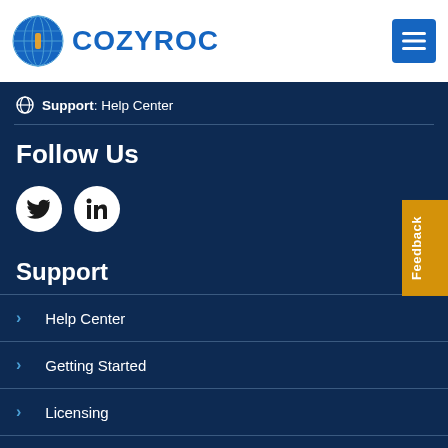COZYROC
Support: Help Center
Follow Us
Twitter LinkedIn social icons
Support
Help Center
Getting Started
Licensing
Tutorials